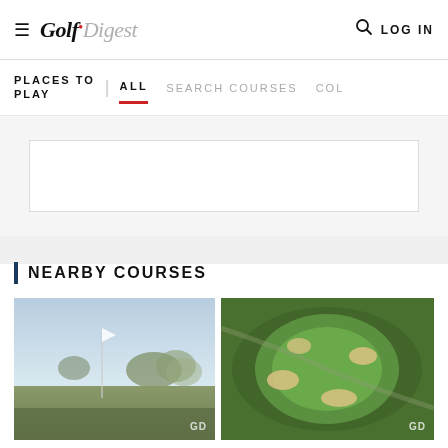Golf Digest — LOG IN
PLACES TO PLAY | ALL   SEARCH COURSES   COL
[Figure (other): Advertisement or content placeholder box]
NEARBY COURSES
[Figure (photo): Golf course image showing a flag on a green at sunset with trees in background, GD watermark]
[Figure (photo): Aerial view of a circular golf green with sand bunkers, GD watermark]